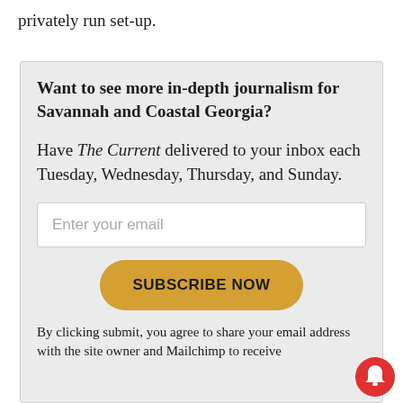privately run set-up.
Want to see more in-depth journalism for Savannah and Coastal Georgia?
Have The Current delivered to your inbox each Tuesday, Wednesday, Thursday, and Sunday.
Enter your email
SUBSCRIBE NOW
By clicking submit, you agree to share your email address with the site owner and Mailchimp to receive